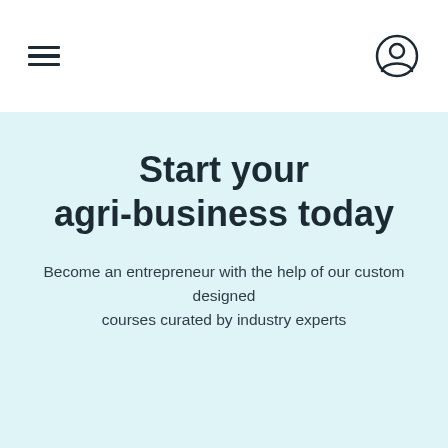[Figure (other): Navigation bar with hamburger menu icon on the left and user/account icon on the right, white background]
Start your agri-business today
Become an entrepreneur with the help of our custom designed courses curated by industry experts